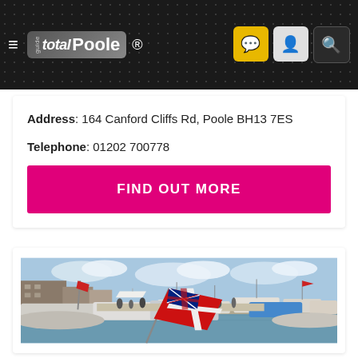total Poole Guide ®
Address: 164 Canford Cliffs Rd, Poole BH13 7ES
Telephone: 01202 700778
FIND OUT MORE
[Figure (photo): A busy marina boat show scene with many boats moored in the harbour, a large Union Jack / Red Ensign flag in the foreground, crowds of people walking on the dockside, and buildings visible in the background under a partly cloudy sky.]